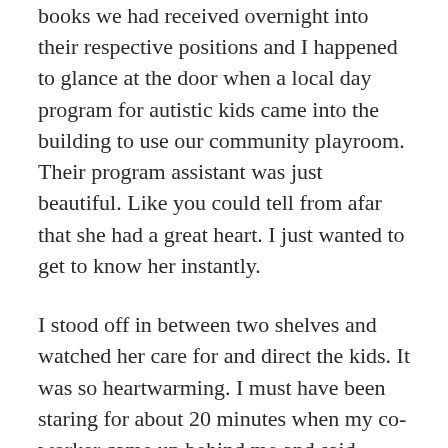books we had received overnight into their respective positions and I happened to glance at the door when a local day program for autistic kids came into the building to use our community playroom. Their program assistant was just beautiful. Like you could tell from afar that she had a great heart. I just wanted to get to know her instantly.
I stood off in between two shelves and watched her care for and direct the kids. It was so heartwarming. I must have been staring for about 20 minutes when my co-worker came up behind me and said,
“Are you going to talk to her or just stare like a creep?”
I joked and blew it off like she wasn’t my type or anything but she really was. She was the perfect foil to me; crazy and loud at the same time. She would bring